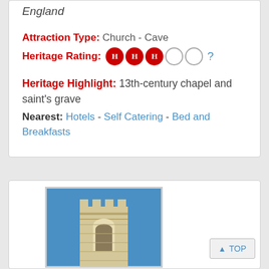England
Attraction Type: Church - Cave
Heritage Rating: HHH ○ ○ ?
Heritage Highlight: 13th-century chapel and saint's grave
Nearest: Hotels - Self Catering - Bed and Breakfasts
[Figure (photo): Photo of a church tower with battlements against a blue sky, shown inside a bordered frame on the lower card section.]